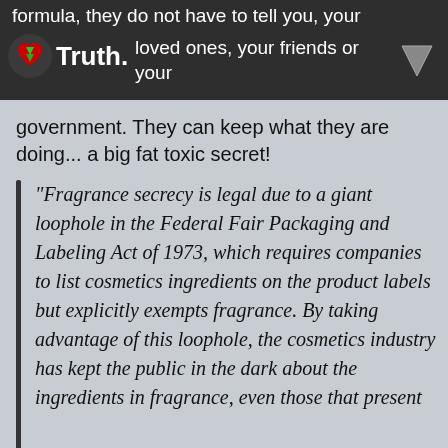formula, they do not have to tell you, your family, your loved ones, your friends or your
government. They can keep what they are doing... a big fat toxic secret!
"Fragrance secrecy is legal due to a giant loophole in the Federal Fair Packaging and Labeling Act of 1973, which requires companies to list cosmetics ingredients on the product labels but explicitly exempts fragrance. By taking advantage of this loophole, the cosmetics industry has kept the public in the dark about the ingredients in fragrance, even those that present